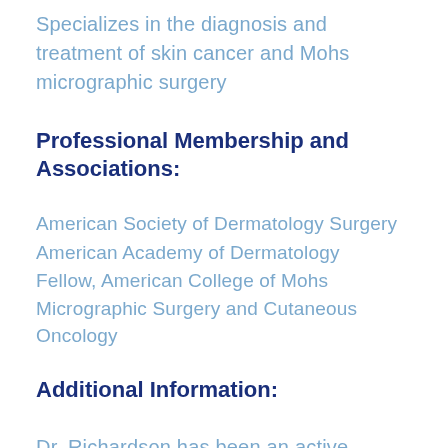Specializes in the diagnosis and treatment of skin cancer and Mohs micrographic surgery
Professional Membership and Associations:
American Society of Dermatology Surgery
American Academy of Dermatology
Fellow, American College of Mohs Micrographic Surgery and Cutaneous Oncology
Additional Information:
Dr. Richardson has been an active community member specializing in Mohs micrographic surgery